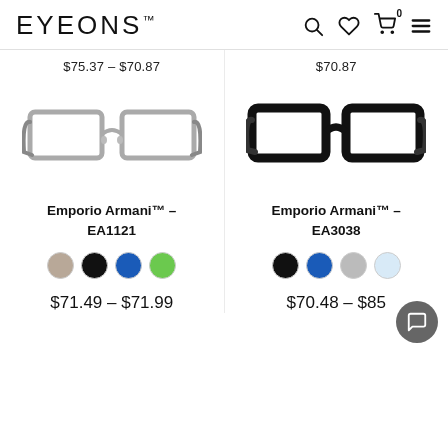EYEONS™
$75.37 – $70.87
$70.87
[Figure (photo): Silver metal frame eyeglasses (Emporio Armani EA1121)]
[Figure (photo): Black thick-frame eyeglasses (Emporio Armani EA3038)]
Emporio Armani™ – EA1121
Emporio Armani™ – EA3038
$71.49 – $71.99
$70.48 – $85